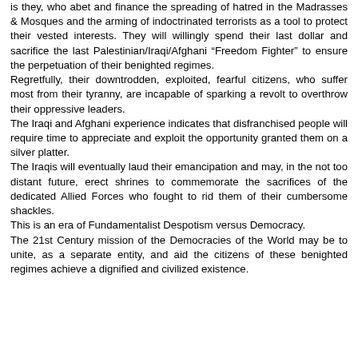is they, who abet and finance the spreading of hatred in the Madrasses & Mosques and the arming of indoctrinated terrorists as a tool to protect their vested interests. They will willingly spend their last dollar and sacrifice the last Palestinian/Iraqi/Afghani “Freedom Fighter” to ensure the perpetuation of their benighted regimes.
Regretfully, their downtrodden, exploited, fearful citizens, who suffer most from their tyranny, are incapable of sparking a revolt to overthrow their oppressive leaders.
The Iraqi and Afghani experience indicates that disfranchised people will require time to appreciate and exploit the opportunity granted them on a silver platter.
The Iraqis will eventually laud their emancipation and may, in the not too distant future, erect shrines to commemorate the sacrifices of the dedicated Allied Forces who fought to rid them of their cumbersome shackles.
This is an era of Fundamentalist Despotism versus Democracy.
The 21st Century mission of the Democracies of the World may be to unite, as a separate entity, and aid the citizens of these benighted regimes achieve a dignified and civilized existence.